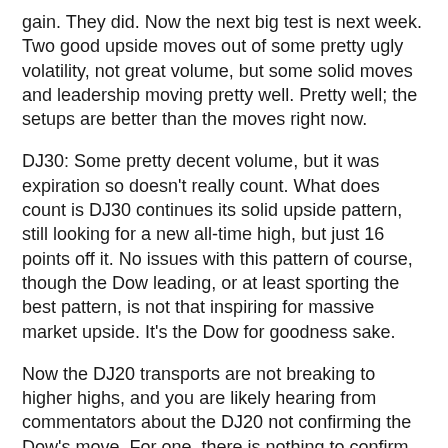gain. They did. Now the next big test is next week. Two good upside moves out of some pretty ugly volatility, not great volume, but some solid moves and leadership moving pretty well. Pretty well; the setups are better than the moves right now.
DJ30: Some pretty decent volume, but it was expiration so doesn't really count. What does count is DJ30 continues its solid upside pattern, still looking for a new all-time high, but just 16 points off it. No issues with this pattern of course, though the Dow leading, or at least sporting the best pattern, is not that inspiring for massive market upside. It's the Dow for goodness sake.
Now the DJ20 transports are not breaking to higher highs, and you are likely hearing from commentators about the DJ20 not confirming the Dow's move. For one, there is nothing to confirm yet because the DJ30 is not at a new high. Hopefully soon, but not yet. More importantly, DJ20 transports are prepped for a bounce off of a very important support level that has worked as the bottom of a trading range spanning back to late 2014.